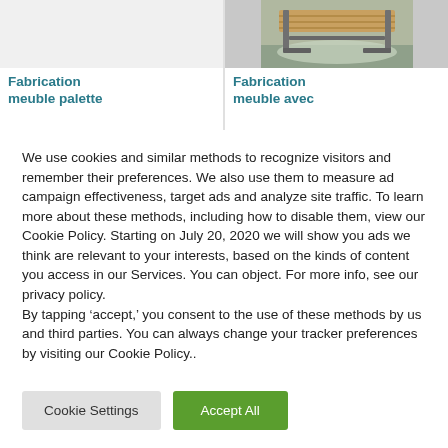[Figure (photo): Empty white card area for Fabrication meuble palette]
[Figure (photo): Photo of a wooden table with metal frame legs on a plastic sheet outdoors, for Fabrication meuble avec]
Fabrication meuble palette
Fabrication meuble avec
We use cookies and similar methods to recognize visitors and remember their preferences. We also use them to measure ad campaign effectiveness, target ads and analyze site traffic. To learn more about these methods, including how to disable them, view our Cookie Policy. Starting on July 20, 2020 we will show you ads we think are relevant to your interests, based on the kinds of content you access in our Services. You can object. For more info, see our privacy policy.
By tapping ‘accept,’ you consent to the use of these methods by us and third parties. You can always change your tracker preferences by visiting our Cookie Policy..
Cookie Settings
Accept All